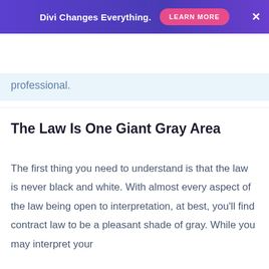[Figure (other): Purple gradient banner ad reading 'Divi Changes Everything.' with a pink 'LEARN MORE' button and an X close button]
[Figure (logo): Elegant Themes logo with asterisk in pink above the 'a' and 'themes' in small text below, with hamburger menu icon in pink on the right]
professional.
The Law Is One Giant Gray Area
The first thing you need to understand is that the law is never black and white. With almost every aspect of the law being open to interpretation, at best, you'll find contract law to be a pleasant shade of gray. While you may interpret your